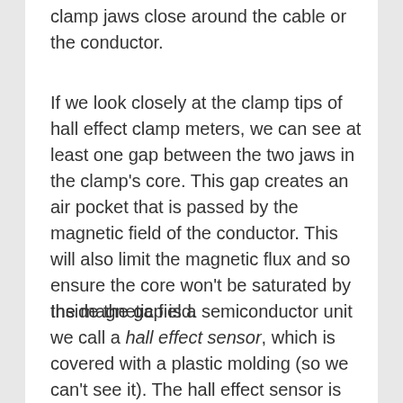clamp jaws close around the cable or the conductor.
If we look closely at the clamp tips of hall effect clamp meters, we can see at least one gap between the two jaws in the clamp's core. This gap creates an air pocket that is passed by the magnetic field of the conductor. This will also limit the magnetic flux and so ensure the core won't be saturated by the magnetic field.
Inside the gap is a semiconductor unit we call a hall effect sensor, which is covered with a plastic molding (so we can't see it). The hall effect sensor is essentially a variable-voltage transducer that can adjust its output voltage